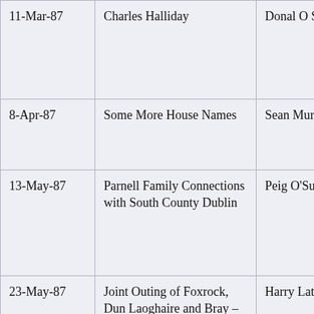| Date | Title | Speaker |
| --- | --- | --- |
| 11-Mar-87 | Charles Halliday | Donal O Sullivan |
| 8-Apr-87 | Some More House Names | Sean Murphy |
| 13-May-87 | Parnell Family Connections with South County Dublin | Peig O'Sullivan |
| 23-May-87 | Joint Outing of Foxrock, Dun Laoghaire and Bray – to Dalkey | Harry Latham |
| 3-Jun- | Outing – St. Helen's | Anne Brady |